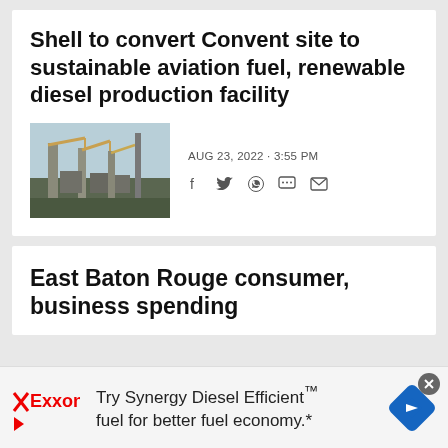Shell to convert Convent site to sustainable aviation fuel, renewable diesel production facility
[Figure (photo): Industrial facility with cranes and towers at Convent site]
AUG 23, 2022 - 3:55 PM
East Baton Rouge consumer, business spending
Try Synergy Diesel Efficient™ fuel for better fuel economy.*